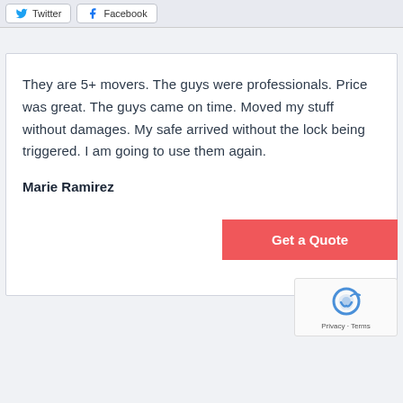Twitter  Facebook
They are 5+ movers. The guys were professionals. Price was great. The guys came on time. Moved my stuff without damages. My safe arrived without the lock being triggered. I am going to use them again.
Marie Ramirez
Get a Quote